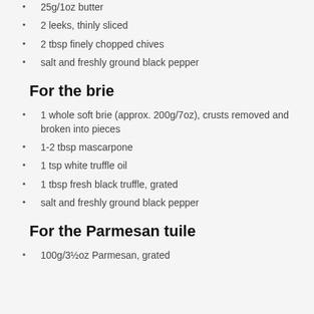25g/1oz butter
2 leeks, thinly sliced
2 tbsp finely chopped chives
salt and freshly ground black pepper
For the brie
1 whole soft brie (approx. 200g/7oz), crusts removed and broken into pieces
1-2 tbsp mascarpone
1 tsp white truffle oil
1 tbsp fresh black truffle, grated
salt and freshly ground black pepper
For the Parmesan tuile
100g/3½oz Parmesan, grated